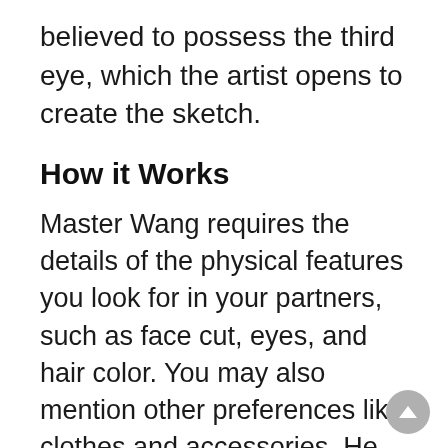believed to possess the third eye, which the artist opens to create the sketch.
How it Works
Master Wang requires the details of the physical features you look for in your partners, such as face cut, eyes, and hair color. You may also mention other preferences like clothes and accessories. He will pose 5 questions to you and based on your answers, he will create the sketch. You need to give him details of all your requirements.
His first question is about yourself. You